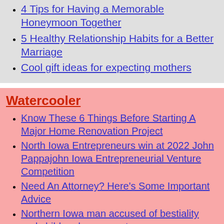4 Tips for Having a Memorable Honeymoon Together
5 Healthy Relationship Habits for a Better Marriage
Cool gift ideas for expecting mothers
Watercooler
Know These 6 Things Before Starting A Major Home Renovation Project
North Iowa Entrepreneurs win at 2022 John Pappajohn Iowa Entrepreneurial Venture Competition
Need An Attorney? Here's Some Important Advice
Northern Iowa man accused of bestiality and child endangerment
Planning To Buy A Car? Here Are Some Helpful Tips
Northern Iowa man dead in accident after losing control of car on gravel road